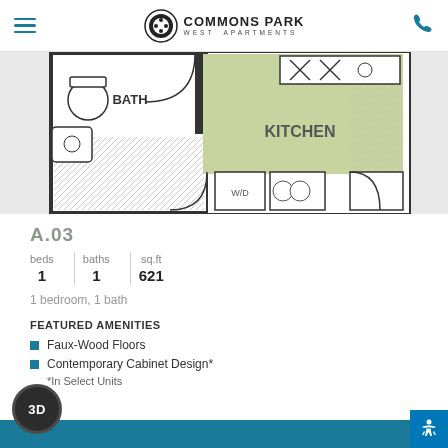Commons Park West Apartments
[Figure (schematic): Apartment floor plan showing bathroom, kitchen (highlighted in green), washer/dryer area for unit A.03]
A.03
| beds | baths | sq.ft |
| --- | --- | --- |
| 1 | 1 | 621 |
1 bedroom, 1 bath
FEATURED AMENITIES
Faux-Wood Floors
Contemporary Cabinet Design*
*In Select Units